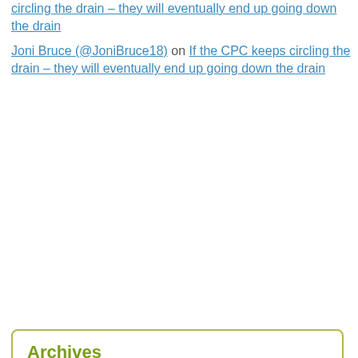circling the drain – they will eventually end up going down the drain
Joni Bruce (@JoniBruce18) on If the CPC keeps circling the drain – they will eventually end up going down the drain
Archives
August 2022 (43)
July 2022 (49)
June 2022 (64)
May 2022 (53)
April 2022 (57)
March 2022 (52)
February 2022 (53)
January 2022 (77)
December 2021 (85)